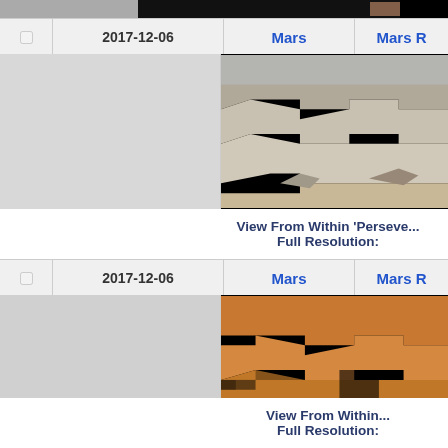|  | 2017-12-06 | Mars | Mars R... |
| --- | --- | --- | --- |
| [img] |  |  |  |
[Figure (photo): Mars surface panorama mosaic image with black areas, showing reddish-tan terrain, taken 2017-12-06]
View From Within 'Perseve...
Full Resolution:
|  | 2017-12-06 | Mars | Mars R... |
| --- | --- | --- | --- |
| [img] |  |  |  |
[Figure (photo): Mars surface panorama mosaic image with black areas, showing orange/tan terrain, taken 2017-12-06]
View From Within...
Full Resolution: